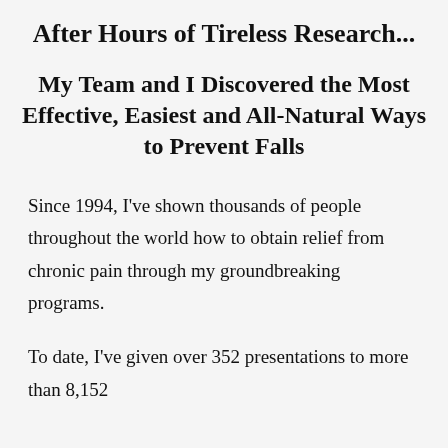After Hours of Tireless Research...
My Team and I Discovered the Most Effective, Easiest and All-Natural Ways to Prevent Falls
Since 1994, I've shown thousands of people throughout the world how to obtain relief from chronic pain through my groundbreaking programs.
To date, I've given over 352 presentations to more than 8,152...